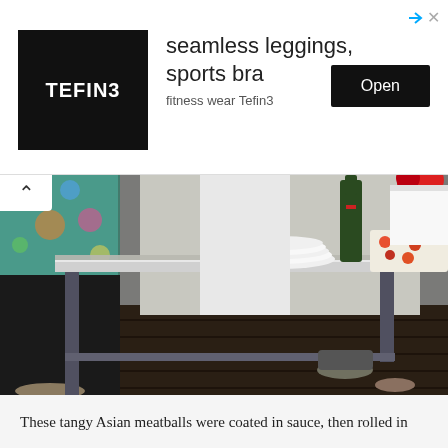[Figure (screenshot): Advertisement banner for Tefin3 fitness wear showing logo, text 'seamless leggings, sports bra' and 'fitness wear Tefin3', with an Open button]
[Figure (photo): Outdoor food table scene with people standing around a grey metal table covered with a decorative tablecloth, stacked white plates, a bottle of red wine, a platter of appetizers, and red flowers in background. People wearing casual clothing.]
These tangy Asian meatballs were coated in sauce, then rolled in